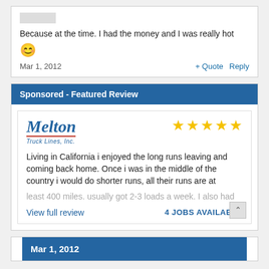Because at the time. I had the money and I was really hot 😊
Mar 1, 2012    + Quote  Reply
Sponsored - Featured Review
[Figure (logo): Melton Truck Lines, Inc. logo with blue italic text and red underline]
[Figure (other): 5 yellow stars rating]
Living in California i enjoyed the long runs leaving and coming back home. Once i was in the middle of the country i would do shorter runs, all their runs are at least 400 miles. usually got 2-3 loads a week. I also had
View full review    4 JOBS AVAILABLE
Mar 1, 2012